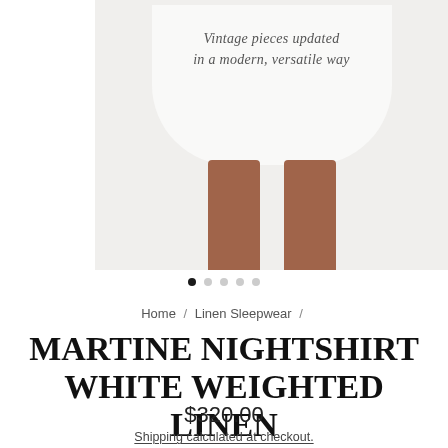[Figure (photo): Product photo of a white linen nightshirt worn by a model. The lower portion is visible showing the white dress against white background. Script text on the garment reads 'Vintage pieces updated in a modern, versatile way'. The model's legs are visible below the dress hem. A left white strip is visible on the side.]
● ○ ○ ○ ○
Home / Linen Sleepwear /
MARTINE NIGHTSHIRT WHITE WEIGHTED LINEN
$320.00
Shipping calculated at checkout.